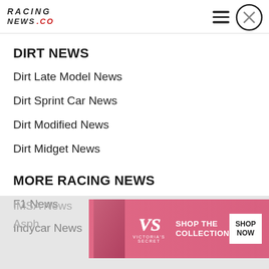RACING NEWS.CO
DIRT NEWS
Dirt Late Model News
Dirt Sprint Car News
Dirt Modified News
Dirt Midget News
MORE RACING NEWS
F1 News
Indycar News
IMSA News
Asph...
[Figure (advertisement): Victoria's Secret advertisement banner: pink background, model photo, VS logo, text SHOP THE COLLECTION, SHOP NOW button]